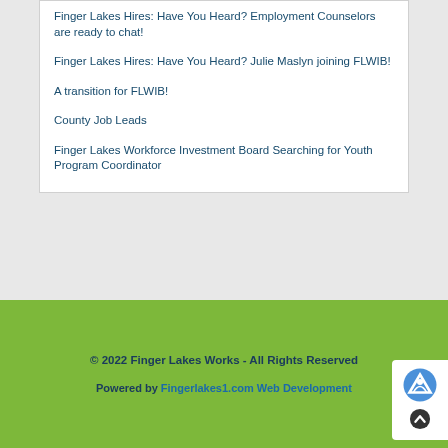Finger Lakes Hires: Have You Heard? Employment Counselors are ready to chat!
Finger Lakes Hires: Have You Heard? Julie Maslyn joining FLWIB!
A transition for FLWIB!
County Job Leads
Finger Lakes Workforce Investment Board Searching for Youth Program Coordinator
© 2022 Finger Lakes Works - All Rights Reserved
Powered by Fingerlakes1.com Web Development